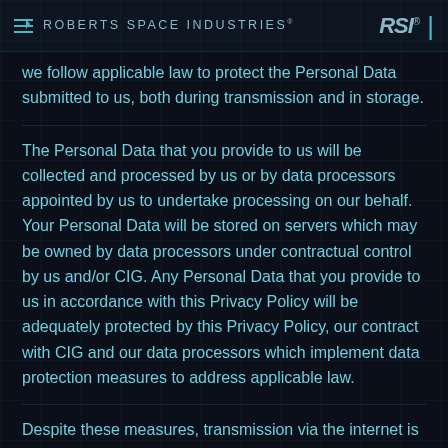ROBERTS SPACE INDUSTRIES® RSI®
we follow applicable law to protect the Personal Data submitted to us, both during transmission and in storage.
The Personal Data that you provide to us will be collected and processed by us or by data processors appointed by us to undertake processing on our behalf. Your Personal Data will be stored on servers which may be owned by data processors under contractual control by us and/or CIG. Any Personal Data that you provide to us in accordance with this Privacy Policy will be adequately protected by this Privacy Policy, our contract with CIG and our data processors which implement data protection measures to address applicable law.
Despite these measures, transmission via the internet is not completely secure and we cannot guarantee the security of your Personal Data provided through the internet.